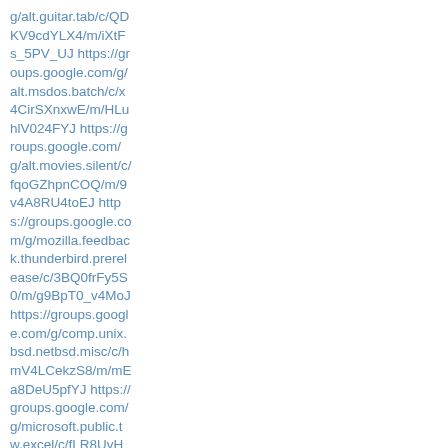g/alt.guitar.tab/c/QDK V9cdYLX4/m/iXtFs_5PV_UJ https://groups.google.com/g/alt.msdos.batch/c/x4CirSXnxwE/m/HLuhlV024FYJ https://groups.google.com/g/alt.movies.silent/c/fqoGZhpnCOQ/m/9v4A8RU4toEJ https://groups.google.com/g/mozilla.feedback.thunderbird.prerelease/c/3BQ0frFy5S0/m/g9BpT0_v4MoJ https://groups.google.com/g/comp.unix.bsd.netbsd.misc/c/hmV4LCekzS8/m/mEa8DeU5pfYJ https://groups.google.com/g/microsoft.public.tw.excel/c/fLR8UvHA7rA/m/ZldMn_IIkQYJ https://groups.google.com/g/sfnet.tiede.fysiikka/c/RuTmDa-qIts/m/gcq53LXb54gJ https://groups.google.